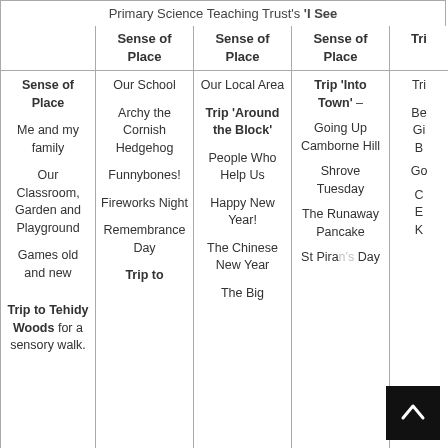Primary Science Teaching Trust's 'I See…'
|  | Sense of Place | Sense of Place | Sense of Place | Tri… |
| --- | --- | --- | --- | --- |
| Sense of Place

Me and my family

Our Classroom, Garden and Playground

Games old and new

Trip to Tehidy Woods for a sensory walk. | Our School

Archy the Cornish Hedgehog

Funnybones!

Fireworks Night

Remembrance Day

Trip to | Our Local Area

Trip 'Around the Block'

People Who Help Us

Happy New Year!

The Chinese New Year

The Big | Trip 'Into Town' –

Going Up Camborne Hill

Shrove Tuesday

The Runaway Pancake

St Piran's Day | Tri…

Be
Gi
B

Go

C
E

K |